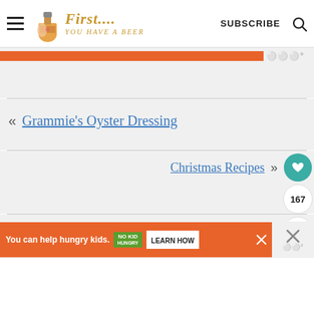First... You Have a Beer — SUBSCRIBE
[Figure (screenshot): Orange advertisement bar at top of page]
« Grammie's Oyster Dressing
Christmas Recipes »
[Figure (infographic): Floating social buttons: heart (teal), 167 count, share icon]
[Figure (screenshot): Bottom orange ad banner: You can help hungry kids. No Kid Hungry. LEARN HOW]